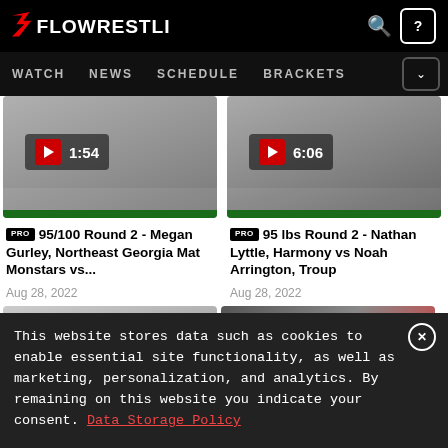FloWrestling
WATCH  NEWS  SCHEDULE  BRACKETS
[Figure (screenshot): Video thumbnail left: wrestling match, duration 1:54]
[Figure (screenshot): Video thumbnail right: wrestling match, duration 6:06]
PRO 95/100 Round 2 - Megan Gurley, Northeast Georgia Mat Monstars vs...
Aug 28, 2022
PRO 95 lbs Round 2 - Nathan Lyttle, Harmony vs Noah Arrington, Troup
Aug 28, 2022
[Figure (screenshot): Video thumbnail bottom left: wrestling arena ceiling]
[Figure (screenshot): Video thumbnail bottom right: wrestling match with red element]
This website stores data such as cookies to enable essential site functionality, as well as marketing, personalization, and analytics. By remaining on this website you indicate your consent. Data Storage Policy